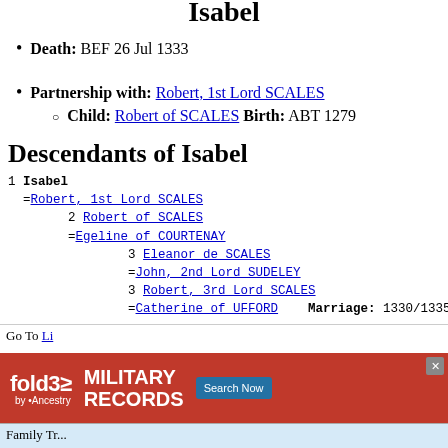Isabel
Death: BEF 26 Jul 1333
Partnership with: Robert, 1st Lord SCALES
  Child: Robert of SCALES Birth: ABT 1279
Descendants of Isabel
1 Isabel
=Robert, 1st Lord SCALES
    2 Robert of SCALES
    =Egeline of COURTENAY
          3 Eleanor de SCALES
          =John, 2nd Lord SUDELEY
          3 Robert, 3rd Lord SCALES
          =Catherine of UFFORD   Marriage: 1330/1335
Go To Li...  fold3 MILITARY RECORDS Search Now  Family Tr...